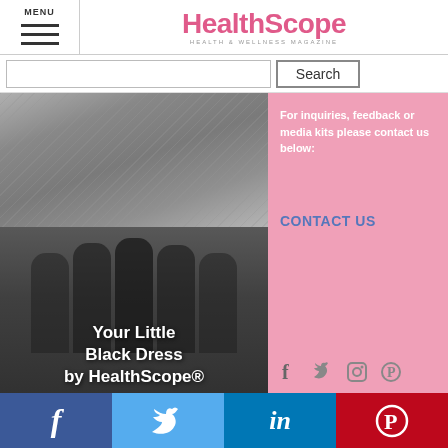MENU — HealthScope Health & Wellness Magazine
Search
[Figure (photo): Gray textured background photo (top)]
[Figure (photo): Group of women in black dresses with overlay text: Your Little Black Dress by HealthScope®]
For inquiries, feedback or media kits please contact us below:
CONTACT US
[Figure (infographic): Social media icons: Facebook, Twitter, Instagram, Pinterest on pink background]
f  Twitter  in  Pinterest — social sharing bar